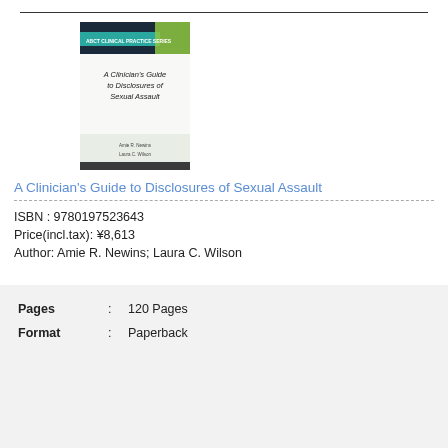[Figure (illustration): Book cover of 'A Clinician's Guide to Disclosures of Sexual Assault' from ABCT Clinical Practice Series, with teal/green design and authors Amie R. Newins, Laura C. Wilson]
A Clinician's Guide to Disclosures of Sexual Assault
ISBN : 9780197523643
Price(incl.tax): ¥8,613
Author: Amie R. Newins; Laura C. Wilson
| Pages | : | 120 Pages |
| Format | : | Paperback |